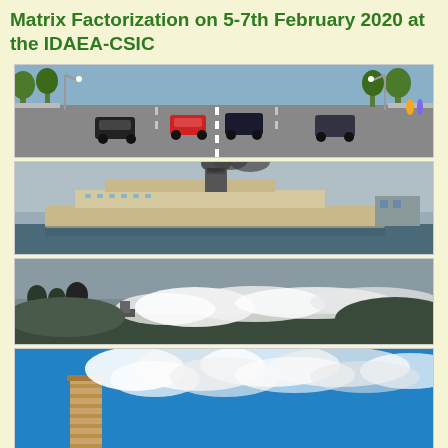Matrix Factorization on 5-7th February 2020 at the IDAEA-CSIC
[Figure (photo): Urban road with cars driving along a multi-lane street lined with trees and streetlights]
[Figure (photo): Large ferry/ship vessel in a port with dark smoke billowing from its funnel]
[Figure (photo): Industrial smoke or emissions spreading horizontally across a landscape under an overcast sky]
[Figure (photo): Industrial chimney/smokestack emitting a large plume of white smoke against a bright blue sky]